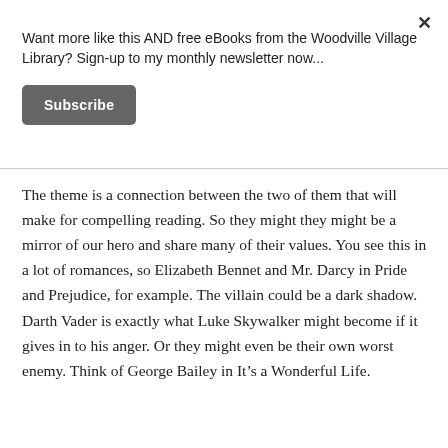Want more like this AND free eBooks from the Woodville Village Library? Sign-up to my monthly newsletter now...
Subscribe
The theme is a connection between the two of them that will make for compelling reading. So they might they might be a mirror of our hero and share many of their values. You see this in a lot of romances, so Elizabeth Bennet and Mr. Darcy in Pride and Prejudice, for example. The villain could be a dark shadow. Darth Vader is exactly what Luke Skywalker might become if it gives in to his anger. Or they might even be their own worst enemy. Think of George Bailey in It’s a Wonderful Life.